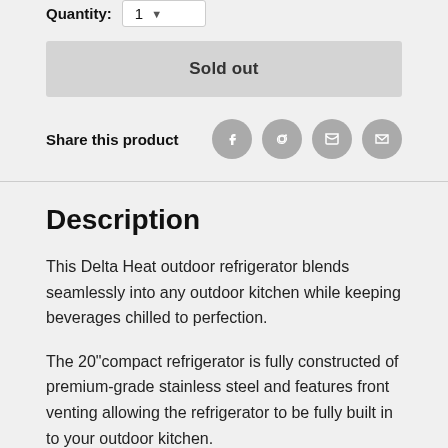Quantity: 1
Sold out
Share this product
Description
This Delta Heat outdoor refrigerator blends seamlessly into any outdoor kitchen while keeping beverages chilled to perfection.
The 20"compact refrigerator is fully constructed of premium-grade stainless steel and features front venting allowing the refrigerator to be fully built in to your outdoor kitchen.
With 4.1 cubic feet of storage space, three (3) adjustable wire